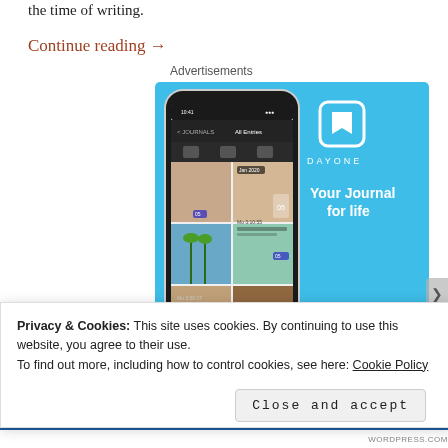the time of writing.
Continue reading →
Advertisements
[Figure (illustration): DayOne app advertisement showing a smartphone with a photo journal grid interface on a blue background. Right side shows the DayOne logo, tagline 'Your Journal for life', and a 'Get the app' button.]
Privacy & Cookies: This site uses cookies. By continuing to use this website, you agree to their use.
To find out more, including how to control cookies, see here: Cookie Policy
Close and accept
WORDPRESS.COM